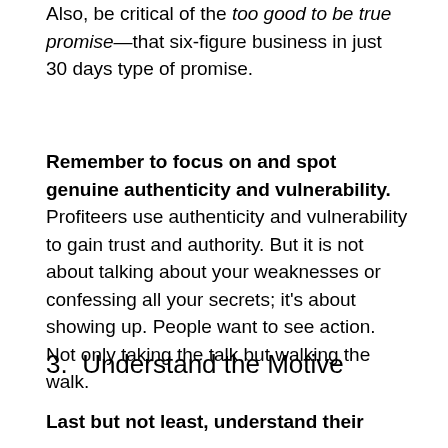Also, be critical of the too good to be true promise—that six-figure business in just 30 days type of promise.
Remember to focus on and spot genuine authenticity and vulnerability. Profiteers use authenticity and vulnerability to gain trust and authority. But it is not about talking about your weaknesses or confessing all your secrets; it's about showing up. People want to see action. Not only taking the talk but walking the walk.
3.  Understand the Motive
Last but not least, understand their